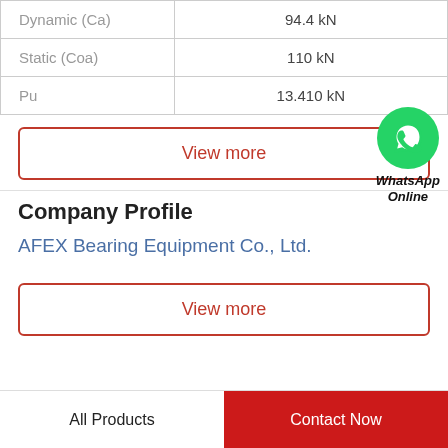| Property | Value |
| --- | --- |
| Dynamic (Ca) | 94.4 kN |
| Static (Coa) | 110 kN |
| Pu | 13.410 kN |
View more
[Figure (logo): WhatsApp green circle icon with phone handset, labeled WhatsApp Online]
Company Profile
AFEX Bearing Equipment Co., Ltd.
View more
All Products   Contact Now